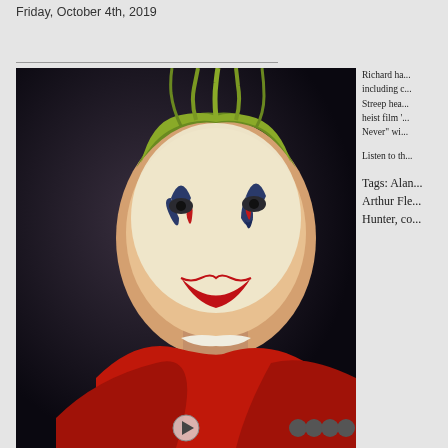Friday, October 4th, 2019
[Figure (photo): A person wearing Joker clown makeup with green hair, red face paint and a large red coat, looking to the side with dramatic lighting]
Richard ha... including c... Streep hea... heist film '... Never" wi...
Listen to th...
Tags: Alan... Arthur Fle... Hunter, co...
Comics, Frances Conroy, Frank Cottrell Boyce, Gary Oldman, Jenny Agutter, Jeremy Ferdman, Joaquin Phoenix, Joker, Matt... Robbery, Robert De Niro, Roy Boulter, Sam Riley, Scott Silve... Sol Papadopoulos, Sometimes Always Never, Steven Soderbe... Phillips, Zazie Beetz
Posted in Film Review | Comments Off
ROBBERY: 3 ½ STARS. “unexpected twists and t...